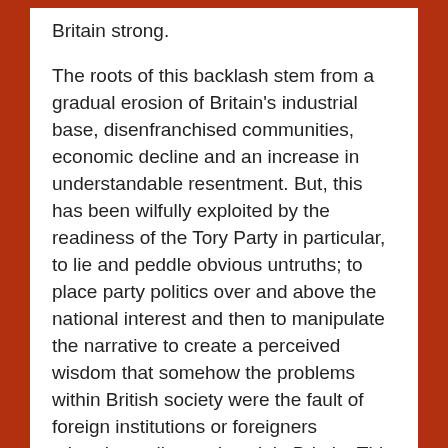Britain strong.
The roots of this backlash stem from a gradual erosion of Britain's industrial base, disenfranchised communities, economic decline and an increase in understandable resentment. But, this has been wilfully exploited by the readiness of the Tory Party in particular, to lie and peddle obvious untruths; to place party politics over and above the national interest and then to manipulate the narrative to create a perceived wisdom that somehow the problems within British society were the fault of foreign institutions or foreigners migrating to live and work in Britain. This con-trick has been going on for four decades.